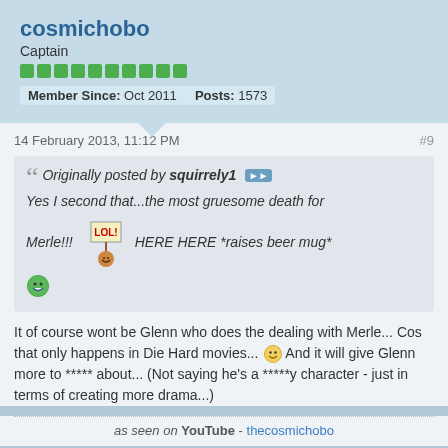cosmichobo
Captain
Member Since: Oct 2011   Posts: 1573
14 February 2013, 11:12 PM   #9
Originally posted by squirrely1 ▶▶
Yes I second that...the most gruesome death for Merle!!!     HERE HERE *raises beer mug*
It of course wont be Glenn who does the dealing with Merle... Cos that only happens in Die Hard movies... And it will give Glenn more to ***** about... (Not saying he's a *****y character - just in terms of creating more drama...)
as seen on YouTube - thecosmichobo